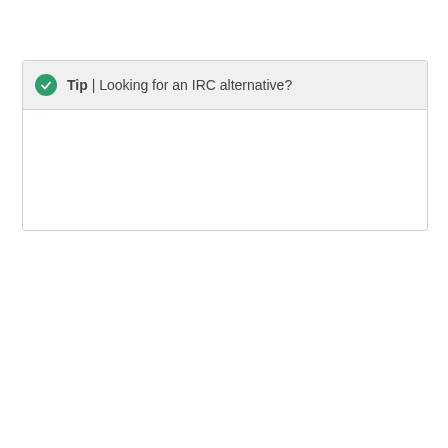Tip | Looking for an IRC alternative?